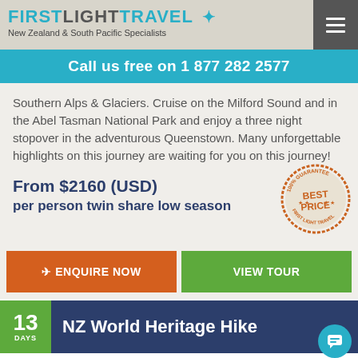FIRSTLIGHTTRAVEL — New Zealand & South Pacific Specialists
Call us free on 1 877 282 2577
Southern Alps & Glaciers. Cruise on the Milford Sound and in the Abel Tasman National Park and enjoy a three night stopover in the adventurous Queenstown. Many unforgettable highlights on this journey are waiting for you on this journey!
From $2160 (USD) per person twin share low season
[Figure (illustration): 100% Guarantee Best Price First Light Travel circular stamp in orange]
✈ ENQUIRE NOW
VIEW TOUR
13 DAYS NZ World Heritage Hike